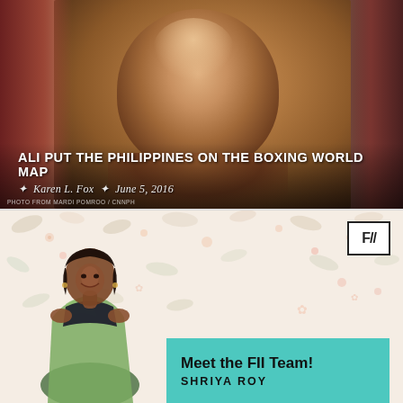[Figure (photo): Close-up photograph of Muhammad Ali looking at the camera with a serious expression, shirtless, warm tones]
ALI PUT THE PHILIPPINES ON THE BOXING WORLD MAP
Karen L. Fox   June 5, 2016
PHOTO FROM MARDI POMROO / CNNPh
[Figure (photo): Floral patterned background with a woman in a sari smiling, next to a teal box with 'Meet the FII Team! SHRIYA ROY' text and F// logo]
Meet the FII Team!
SHRIYA ROY